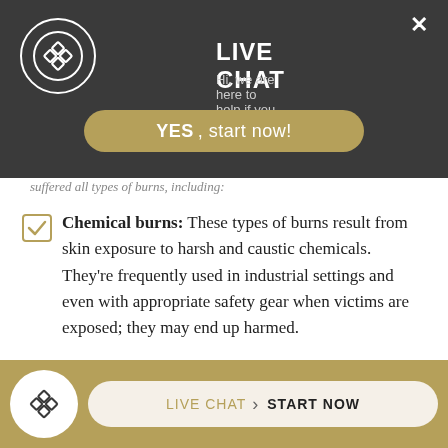LIVE CHAT — Hi, we are here to help if you have questions.
suffered all types of burns, including:
Chemical burns: These types of burns result from skin exposure to harsh and caustic chemicals. They're frequently used in industrial settings and even with appropriate safety gear when victims are exposed; they may end up harmed.
Electrical Burns: Electrical burns occur when a victim is exposed to live power lines and wiring.
LIVE CHAT  START NOW